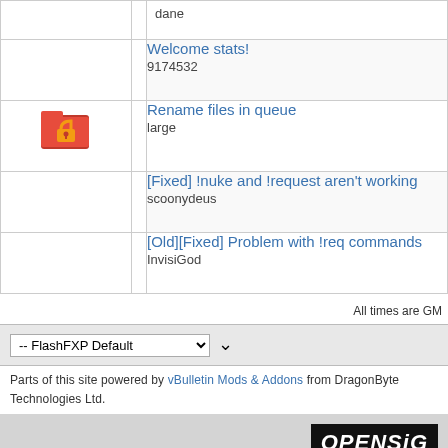|  |  | dane |
|  |  | Welcome stats!
9174532 |
| [icon] |  | Rename files in queue
large |
|  |  | [Fixed] !nuke and !request aren't working
scoonydeus |
|  |  | [Old][Fixed] Problem with !req commands
InvisiGod |
All times are GM
-- FlashFXP Default
Parts of this site powered by vBulletin Mods & Addons from DragonByte Technologies Ltd.
[Figure (logo): OPENSiG logo in black box with italic text]
Copyright © 1999-2016  O
Powered by vBulletin® Co
Promote FlashFX